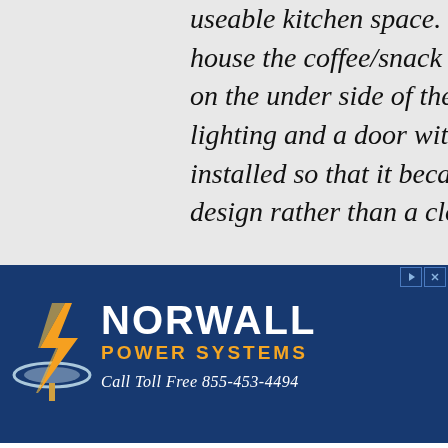useable kitchen space. She house the coffee/snack bar, on the under side of the she lighting and a door with t installed so that it becam design rather than a close
[Figure (logo): Norwall Power Systems advertisement banner with lightning bolt logo. Text reads: NORWALL POWER SYSTEMS, Call Toll Free 855-453-4494]
nerac Battery Warmer fo... nac Battery Pad ner The pad warm... $136
oStar 9500 t / Max 120... h Watt Generator $1,399